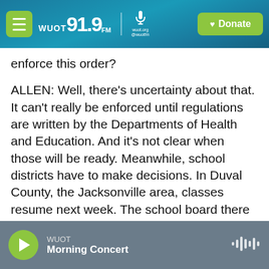WUOT 91.9 FM | wuot.org @wuotfm | Donate
enforce this order?
ALLEN: Well, there's uncertainty about that. It can't really be enforced until regulations are written by the Departments of Health and Education. And it's not clear when those will be ready. Meanwhile, school districts have to make decisions. In Duval County, the Jacksonville area, classes resume next week. The school board there voted to require face masks but will let parents opt out at individual schools. The board is hoping that that might comply with the governor's order.
WUOT — Morning Concert